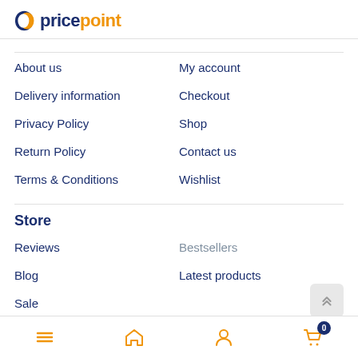[Figure (logo): PricePoint logo: orange P icon with dark blue text 'price' and orange text 'point']
About us
My account
Delivery information
Checkout
Privacy Policy
Shop
Return Policy
Contact us
Terms & Conditions
Wishlist
Store
Reviews
Bestsellers
Blog
Latest products
Sale
Navigation bar with menu, home, account, and cart (0) icons